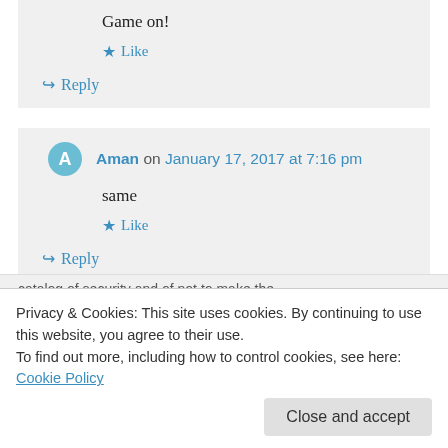Game on!
★ Like
↪ Reply
Aman on January 17, 2017 at 7:16 pm
same
★ Like
↪ Reply
Privacy & Cookies: This site uses cookies. By continuing to use this website, you agree to their use.
To find out more, including how to control cookies, see here: Cookie Policy
Close and accept
catalog of security and of not to make the